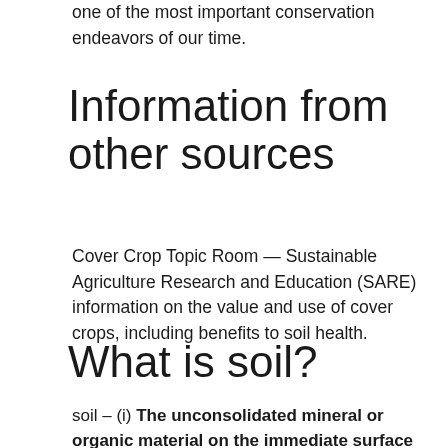one of the most important conservation endeavors of our time.
Information from other sources
Cover Crop Topic Room — Sustainable Agriculture Research and Education (SARE) information on the value and use of cover crops, including benefits to soil health.
What is soil?
soil – (i) The unconsolidated mineral or organic material on the immediate surface of the Earth that serves as a